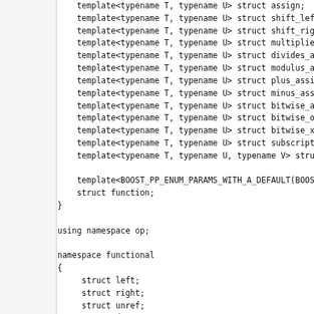C++ code snippet showing template struct declarations in namespace op and namespace functional, including assign, shift_left, shift_right, multiplies, divides, modulus, plus_assign, minus_assign, bitwise_and, bitwise_or, bitwise_xor, subscript, function structs and functional namespace with left, right, unref, deep_copy structs and template structs as_expr, as_arg, arg, arg_c.